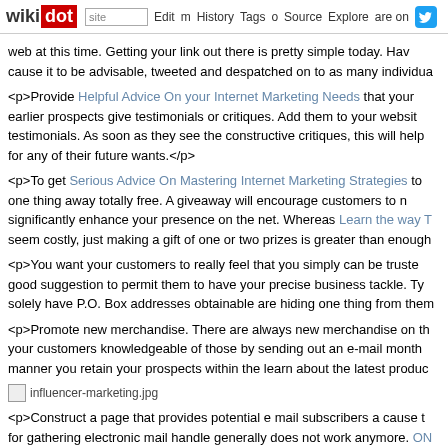wikidot | site | Edit | History | Tags | Source | Explore | Share on Twitter
web at this time. Getting your link out there is pretty simple today. Have cause it to be advisable, tweeted and despatched on to as many individua
<p>Provide Helpful Advice On your Internet Marketing Needs that your earlier prospects give testimonials or critiques. Add them to your websit testimonials. As soon as they see the constructive critiques, this will help for any of their future wants.</p>
<p>To get Serious Advice On Mastering Internet Marketing Strategies to one thing away totally free. A giveaway will encourage customers to n significantly enhance your presence on the net. Whereas Learn the way T seem costly, just making a gift of one or two prizes is greater than enough
<p>You want your customers to really feel that you simply can be truste good suggestion to permit them to have your precise business tackle. Ty solely have P.O. Box addresses obtainable are hiding one thing from them
<p>Promote new merchandise. There are always new merchandise on th your customers knowledgeable of those by sending out an e-mail month manner you retain your prospects within the learn about the latest produc
[Figure (photo): influencer-marketing.jpg image placeholder]
<p>Construct a page that provides potential e mail subscribers a cause t for gathering electronic mail handle generally does not work anymore. ON NEED TO Read This keep away from these because they do not need t Creating a page that particulars the advantages they receive for signing u
<p>Experiment along with your internet marketing. Tweak your meth